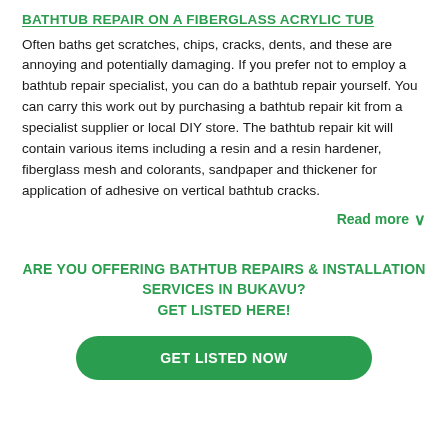BATHTUB REPAIR ON A FIBERGLASS ACRYLIC TUB
Often baths get scratches, chips, cracks, dents, and these are annoying and potentially damaging. If you prefer not to employ a bathtub repair specialist, you can do a bathtub repair yourself. You can carry this work out by purchasing a bathtub repair kit from a specialist supplier or local DIY store. The bathtub repair kit will contain various items including a resin and a resin hardener, fiberglass mesh and colorants, sandpaper and thickener for application of adhesive on vertical bathtub cracks.
Read more ∨
ARE YOU OFFERING BATHTUB REPAIRS & INSTALLATION SERVICES IN BUKAVU?
GET LISTED HERE!
GET LISTED NOW